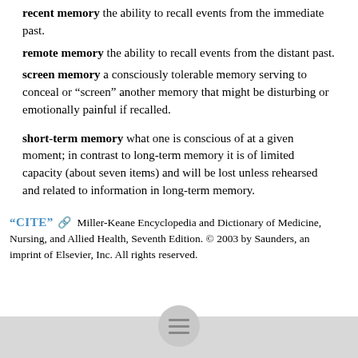recent memory the ability to recall events from the immediate past.
remote memory the ability to recall events from the distant past.
screen memory a consciously tolerable memory serving to conceal or “screen” another memory that might be disturbing or emotionally painful if recalled.
short-term memory what one is conscious of at a given moment; in contrast to long-term memory it is of limited capacity (about seven items) and will be lost unless rehearsed and related to information in long-term memory.
“CITE” [link icon] Miller-Keane Encyclopedia and Dictionary of Medicine, Nursing, and Allied Health, Seventh Edition. © 2003 by Saunders, an imprint of Elsevier, Inc. All rights reserved.